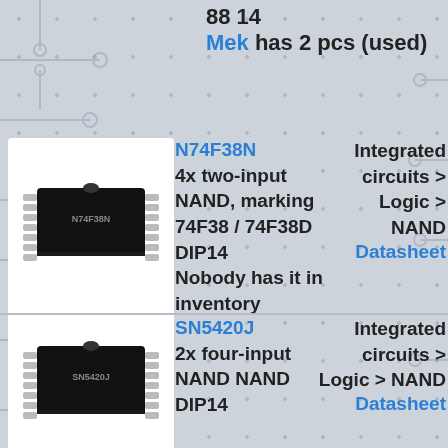88 14
Mek has 2 pcs (used)
[Figure (photo): DIP14 IC chip photograph for N74F38N]
N74F38N
4x two-input NAND, marking 74F38 / 74F38D DIP14
Nobody has it in inventory
Integrated circuits > Logic > NAND
Datasheet
[Figure (photo): DIP14 IC chip photograph for SN5420J]
SN5420J
2x four-input NAND NAND DIP14
Integrated circuits > Logic > NAND
Datasheet